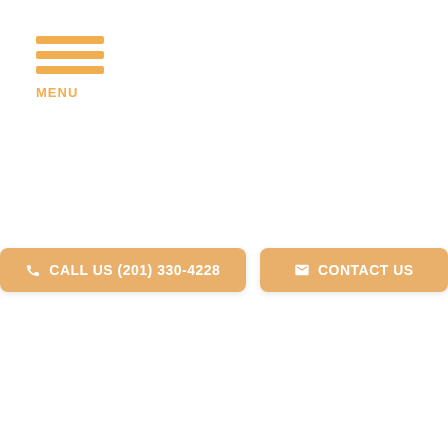[Figure (logo): Orange hamburger menu icon with three horizontal bars and MENU label below]
CALL US (201) 330-4228
CONTACT US